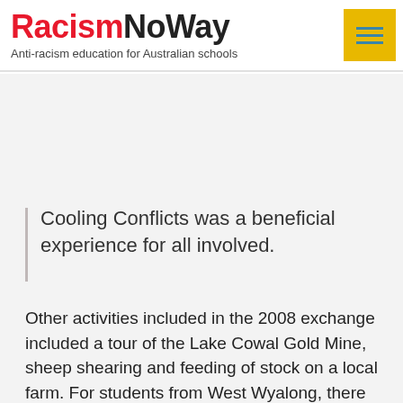RacismNoWay — Anti-racism education for Australian schools
Cooling Conflicts was a beneficial experience for all involved.
Other activities included in the 2008 exchange included a tour of the Lake Cowal Gold Mine, sheep shearing and feeding of stock on a local farm. For students from West Wyalong, there were opportunities to engage